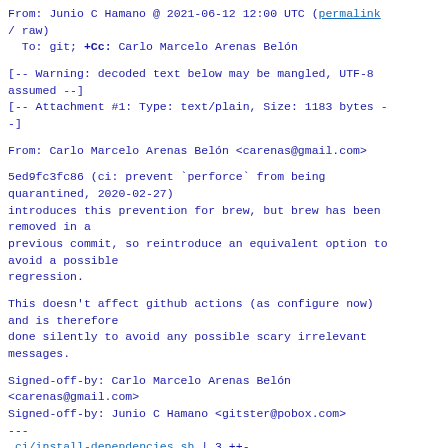From: Junio C Hamano @ 2021-06-12 12:00 UTC (permalink / raw)
  To: git; +Cc: Carlo Marcelo Arenas Belón
[-- Warning: decoded text below may be mangled, UTF-8 assumed --]
[-- Attachment #1: Type: text/plain, Size: 1183 bytes --]
From: Carlo Marcelo Arenas Belón <carenas@gmail.com>
5ed9fc3fc86 (ci: prevent `perforce` from being quarantined, 2020-02-27)
introduces this prevention for brew, but brew has been removed in a
previous commit, so reintroduce an equivalent option to avoid a possible
regression.
This doesn't affect github actions (as configure now) and is therefore
done silently to avoid any possible scary irrelevant messages.
Signed-off-by: Carlo Marcelo Arenas Belón <carenas@gmail.com>
Signed-off-by: Junio C Hamano <gitster@pobox.com>
---
 ci/install-dependencies.sh | 3 ++-
 1 file changed, 2 insertions(+), 1 deletion(-)